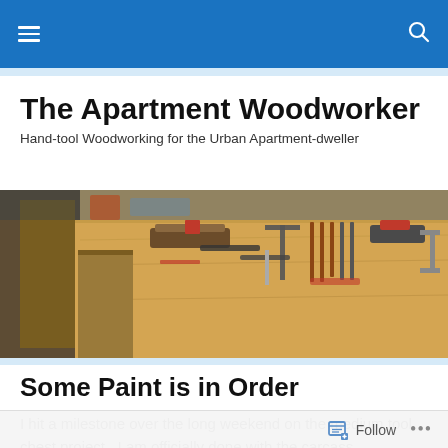Navigation bar with menu and search icons
The Apartment Woodworker
Hand-tool Woodworking for the Urban Apartment-dweller
[Figure (photo): A woodworking bench top covered with various hand tools including planes, chisels, squares, and clamps on a light wood surface]
Some Paint is in Order
I hit a milestone over the long weekend on the medium tool chest project.  I am officially done with the carcass.
Follow ...